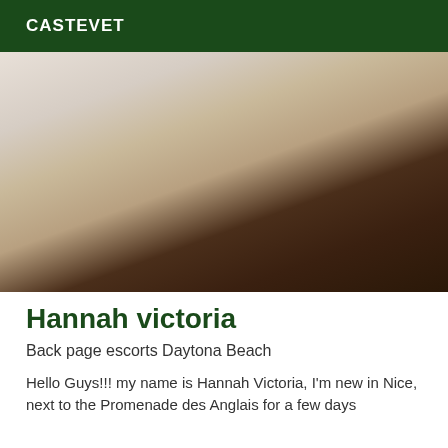CASTEVET
[Figure (photo): Woman with long dark hair lying on white bedding, photographed from above, head tilted back]
Hannah victoria
Back page escorts Daytona Beach
Hello Guys!!! my name is Hannah Victoria, I'm new in Nice, next to the Promenade des Anglais for a few days